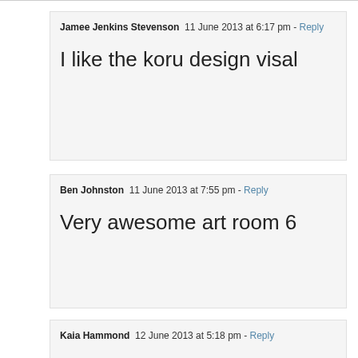Jamee Jenkins Stevenson  11 June 2013 at 6:17 pm - Reply
I like the koru design visal
Ben Johnston  11 June 2013 at 7:55 pm - Reply
Very awesome art room 6
Kaia Hammond  12 June 2013 at 5:18 pm - Reply
I like all of them well done room 6